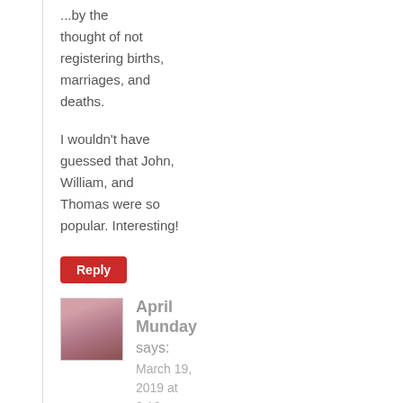...by the thought of not registering births, marriages, and deaths.
I wouldn't have guessed that John, William, and Thomas were so popular. Interesting!
Reply
April Munday says:
March 19, 2019 at 3:16 pm
They were so